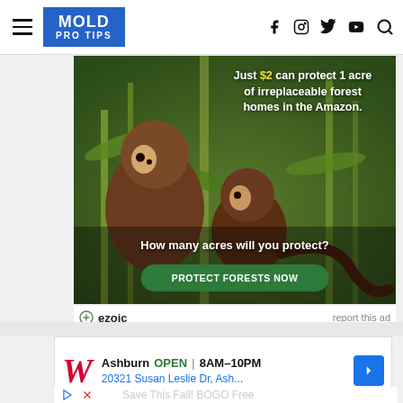MOLD PRO TIPS — navigation header with hamburger menu, logo, and social icons (f, Instagram, Twitter, YouTube, Search)
[Figure (photo): Advertisement showing two monkeys (capuchins) in Amazon rainforest green foliage with text: 'Just $2 can protect 1 acre of irreplaceable forest homes in the Amazon. How many acres will you protect?' and a green button 'PROTECT FORESTS NOW']
ezoic   report this ad
[Figure (screenshot): Walgreens advertisement: Ashburn OPEN 8AM-10PM, 20321 Susan Leslie Dr, Ash..., with Walgreens cursive W logo and a blue navigation arrow icon. Below: play and close icon buttons with 'Save This Fall! BOGO Free' text partially visible.]